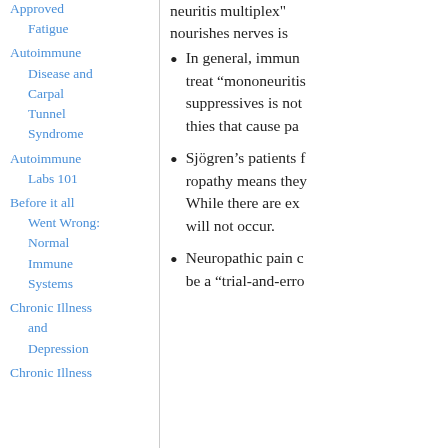Approved Fatigue
Autoimmune Disease and Carpal Tunnel Syndrome
Autoimmune Labs 101
Before it all Went Wrong: Normal Immune Systems
Chronic Illness and Depression
Chronic Illness
neuritis multiplex" nourishes nerves is
In general, immune treat "mononeuritis suppressives is not thies that cause pa
Sjögren's patients f ropathy means they While there are exc will not occur.
Neuropathic pain c be a "trial-and-erro